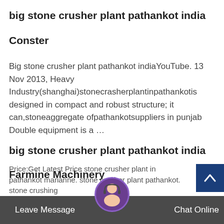big stone crusher plant pathankot india
Conster
Big stone crusher plant pathankot indiaYouTube. 13 Nov 2013, Heavy Industry(shanghai)stonecrasherplantinpathankotis designed in compact and robust structure; it can,stoneaggregate ofpathankotsuppliers in punjab Double equipment is a …
big stone crusher plant pathankot india
Farmine Machinery
big stone crusher plant pathankot india. FOB Reference Price:Get Latest Price stone crusher plant in pathankot marianne. stone crusher plant pathankot. stone crushing
Leave Message   Chat Online